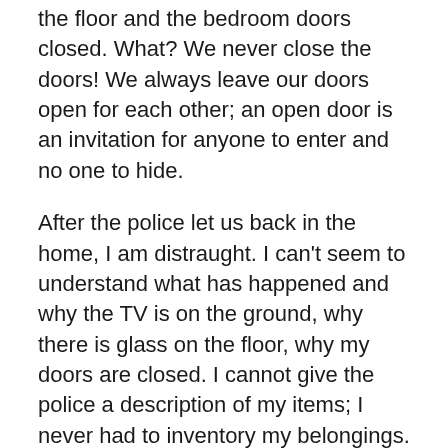the floor and the bedroom doors closed. What? We never close the doors! We always leave our doors open for each other; an open door is an invitation for anyone to enter and no one to hide.
After the police let us back in the home, I am distraught. I can't seem to understand what has happened and why the TV is on the ground, why there is glass on the floor, why my doors are closed. I cannot give the police a description of my items; I never had to inventory my belongings. I quickly become disturbed; my main jewelry box is gone. Pearls that were gifted to me at my wedding, pearls that have been passed down the family for many generations; my wedding ring and all my trinkets are gone. As I sat on the bed full of glass, I remembered the twenty-dollar ring, the memories of our wedding, the expensive ring and all the little beautiful art that Bianca had made. I cannot